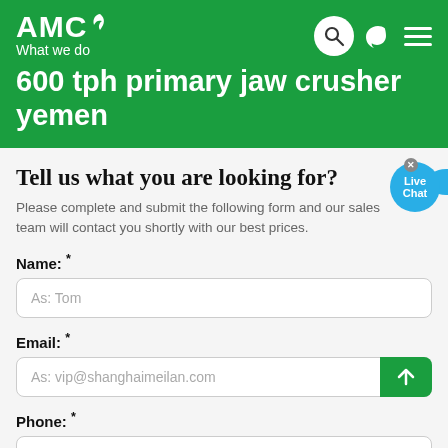AMC — What we do
600 tph primary jaw crusher yemen
Tell us what you are looking for?
Please complete and submit the following form and our sales team will contact you shortly with our best prices.
Name: *
As: Tom
Email: *
As: vip@shanghaimeilan.com
Phone: *
With Country Code